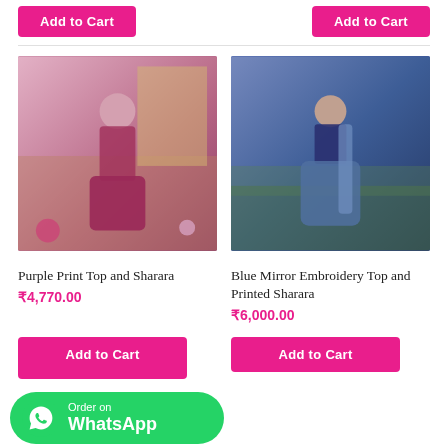[Figure (photo): Pink 'Add to Cart' button on left at top of page]
[Figure (photo): Pink 'Add to Cart' button on right at top of page]
[Figure (photo): Girl wearing purple print top and sharara traditional Indian outfit, indoor setting with bookshelves and flowers in background]
Purple Print Top and Sharara
₹4,770.00
[Figure (photo): Girl wearing blue mirror embroidery top and printed sharara, standing outdoors in garden/grass setting]
Blue Mirror Embroidery Top and Printed Sharara
₹6,000.00
[Figure (other): Green WhatsApp 'Order on WhatsApp' button with WhatsApp logo, positioned at bottom left]